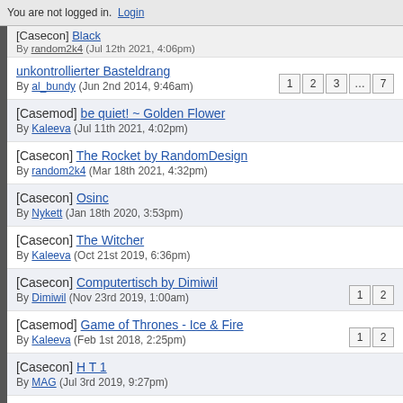You are not logged in. Login
[Casecon] Black
By random2k4 (Jul 12th 2021, 4:06pm)
unkontrollierter Basteldrang
By al_bundy (Jun 2nd 2014, 9:46am) | pages: 1 2 3 … 7
[Casemod] be quiet! ~ Golden Flower
By Kaleeva (Jul 11th 2021, 4:02pm)
[Casecon] The Rocket by RandomDesign
By random2k4 (Mar 18th 2021, 4:32pm)
[Casecon] Osinc
By Nykett (Jan 18th 2020, 3:53pm)
[Casecon] The Witcher
By Kaleeva (Oct 21st 2019, 6:36pm)
[Casecon] Computertisch by Dimiwil
By Dimiwil (Nov 23rd 2019, 1:00am) | pages: 1 2
[Casemod] Game of Thrones - Ice & Fire
By Kaleeva (Feb 1st 2018, 2:25pm) | pages: 1 2
[Casecon] H T 1
By MAG (Jul 3rd 2019, 9:27pm)
[Casecon] Starwars X-Wing by RandomDesign
By random2k4 (Mar 13th 2018, 4:35pm) | pages: 1 2 3
[Casecon] WOPR - Casecon by RandomDesign
By random2k4 (Dec 12th 2017, 3:22am) | pages: 1 2 3 4